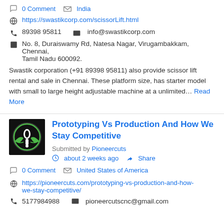0 Comment   India
https://swastikcorp.com/scissorLift.html
89398 95811   info@swastikcorp.com
No. 8, Duraiswamy Rd, Natesa Nagar, Virugambakkam, Chennai, Tamil Nadu 600092.
Swastik corporation (+91 89398 95811) also provide scissor lift rental and sale in Chennai. These platform size, has starter model with small to large height adjustable machine at a unlimited... Read More
[Figure (logo): Black square logo with green and white Rebel Alliance-style symbol]
Prototyping Vs Production And How We Stay Competitive
Submitted by Pioneercuts
about 2 weeks ago   Share
0 Comment   United States of America
https://pioneercuts.com/prototyping-vs-production-and-how-we-stay-competitive/
5177984988   pioneercutscnc@gmail.com